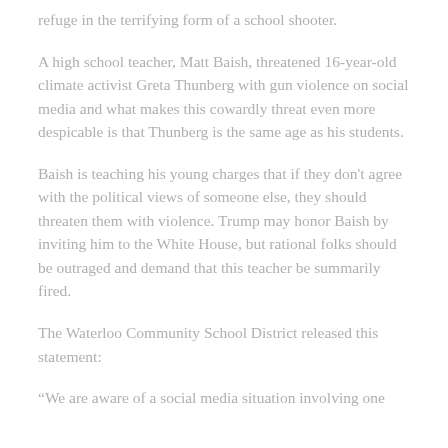refuge in the terrifying form of a school shooter.
A high school teacher, Matt Baish, threatened 16-year-old climate activist Greta Thunberg with gun violence on social media and what makes this cowardly threat even more despicable is that Thunberg is the same age as his students.
Baish is teaching his young charges that if they don't agree with the political views of someone else, they should threaten them with violence. Trump may honor Baish by inviting him to the White House, but rational folks should be outraged and demand that this teacher be summarily fired.
The Waterloo Community School District released this statement:
“We are aware of a social media situation involving one